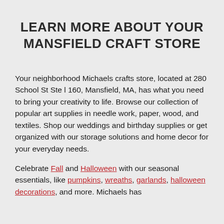LEARN MORE ABOUT YOUR MANSFIELD CRAFT STORE
Your neighborhood Michaels crafts store, located at 280 School St Ste l 160, Mansfield, MA, has what you need to bring your creativity to life. Browse our collection of popular art supplies in needle work, paper, wood, and textiles. Shop our weddings and birthday supplies or get organized with our storage solutions and home decor for your everyday needs.
Celebrate Fall and Halloween with our seasonal essentials, like pumpkins, wreaths, garlands, halloween decorations, and more. Michaels has